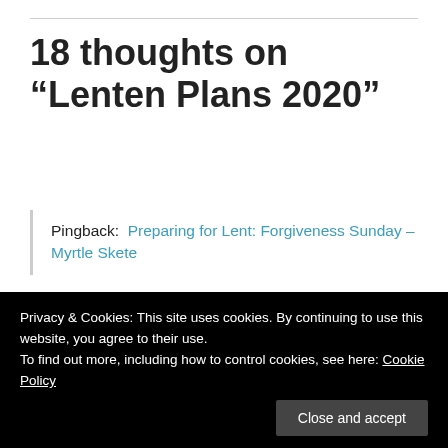18 thoughts on “Lenten Plans 2020”
Pingback: Preparing for Lent: Forgiveness Sunday – Myrtle Skete
Pingback: Pushing Forward Back February/March 2020 – [truncated]
Privacy & Cookies: This site uses cookies. By continuing to use this website, you agree to their use.
To find out more, including how to control cookies, see here: Cookie Policy
February 27, 2020 at 11:01 PM